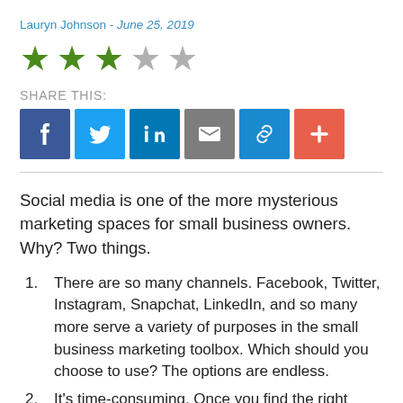Lauryn Johnson - June 25, 2019
[Figure (other): Star rating: 3 out of 5 stars (3 filled green stars, 2 empty gray stars)]
SHARE THIS:
[Figure (other): Social share buttons: Facebook, Twitter, LinkedIn, Email, Link, More (+)]
Social media is one of the more mysterious marketing spaces for small business owners. Why? Two things.
There are so many channels. Facebook, Twitter, Instagram, Snapchat, LinkedIn, and so many more serve a variety of purposes in the small business marketing toolbox. Which should you choose to use? The options are endless.
It's time-consuming. Once you find the right social